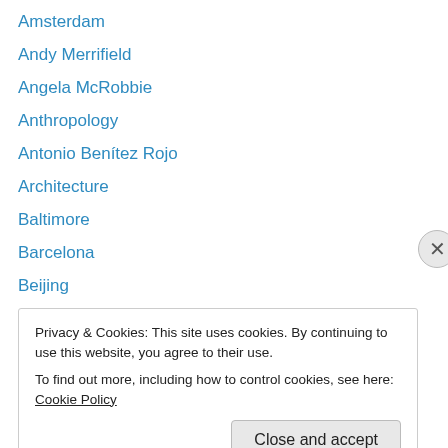Amsterdam
Andy Merrifield
Angela McRobbie
Anthropology
Antonio Benítez Rojo
Architecture
Baltimore
Barcelona
Beijing
Beirut
Benidorm
Berlin
Biking
Privacy & Cookies: This site uses cookies. By continuing to use this website, you agree to their use.
To find out more, including how to control cookies, see here: Cookie Policy
Close and accept